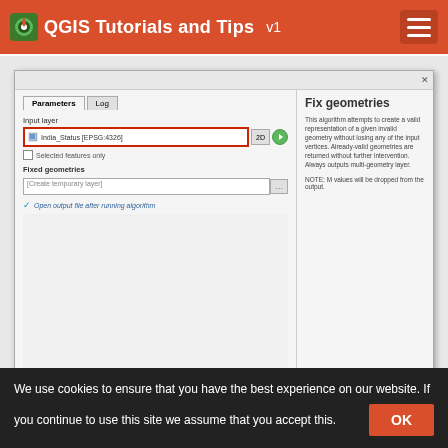QGIS Tutorials and Tips v1
[Figure (screenshot): QGIS dialog box showing 'Fix geometries' algorithm with Parameters and Log tabs. Input layer shows 'India_Status [EPSG:4326]' selected with a red border. Fixed geometries output set to [Create temporary layer]. Checkbox for 'Open output file after running algorithm' is checked. Right panel shows description of Fix geometries algorithm. Bottom has 0% progress bar with Cancel, Run, Close, Help buttons.]
12. A new layer Fixed Geometries will be added to the Layers
We use cookies to ensure that you have the best experience on our website. If you continue to use this site we assume that you accept this.